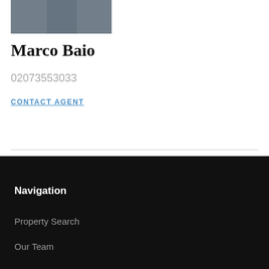[Figure (photo): Photo of Marco Baio, a man seated with hands clasped, wearing a dark shirt]
Marco Baio
02073553033
CONTACT AGENT
Navigation
Property Search
Our Team